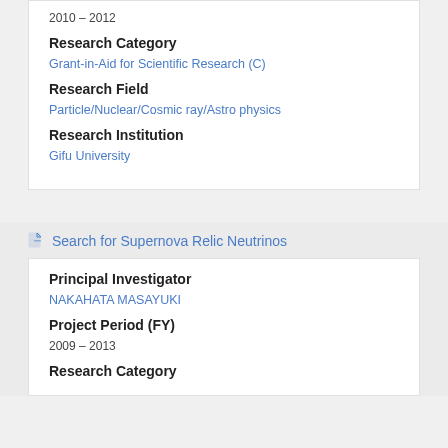2010 – 2012
Research Category
Grant-in-Aid for Scientific Research (C)
Research Field
Particle/Nuclear/Cosmic ray/Astro physics
Research Institution
Gifu University
Search for Supernova Relic Neutrinos
Principal Investigator
NAKAHATA MASAYUKI
Project Period (FY)
2009 – 2013
Research Category